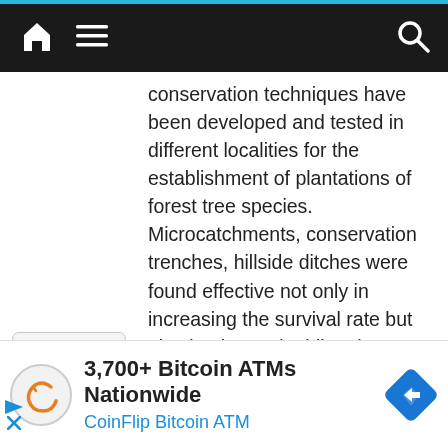Navigation bar with home, menu, and search icons
conservation techniques have been developed and tested in different localities for the establishment of plantations of forest tree species. Microcatchments, conservation trenches, hillside ditches were found effective not only in increasing the survival rate but also in almost doubling the growth rate of fast growing tree species such as Eucalyptus camaldulensis, Acacia nilotica and Leuceana leucocephala in the scrub zone at Kharian, Kohat and Loralai. In Quetta valley the techniques were found effective reducing surface runoff as well as sediment yield by 100 percent.
Water harvesting studies: Rain water
3,700+ Bitcoin ATMs Nationwide
CoinFlip Bitcoin ATM